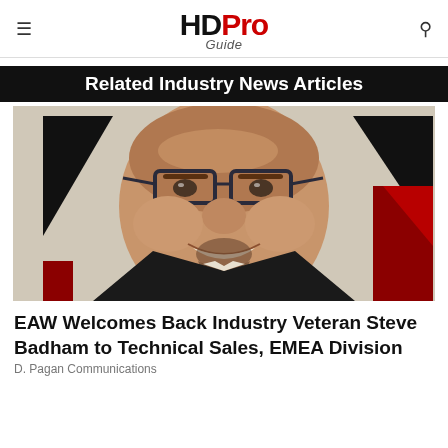HD Pro Guide
Related Industry News Articles
[Figure (photo): Headshot of a smiling bald man with glasses and a goatee, wearing a dark jacket, photographed against a background with black triangular shapes.]
EAW Welcomes Back Industry Veteran Steve Badham to Technical Sales, EMEA Division
D. Pagan Communications